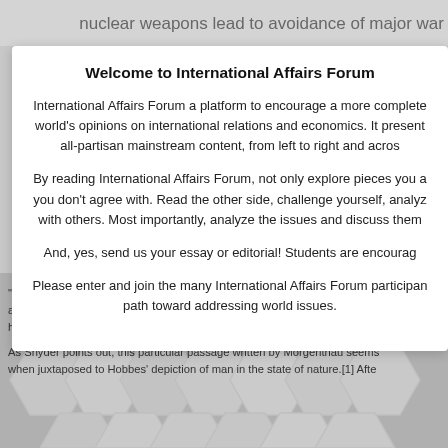nuclear weapons lead to avoidance of major war
Welcome to International Affairs Forum
International Affairs Forum a platform to encourage a more complete world's opinions on international relations and economics. It presents all-partisan mainstream content, from left to right and across
By reading International Affairs Forum, not only explore pieces you agree with, you don't agree with. Read the other side, challenge yourself, analyze with others. Most importantly, analyze the issues and discuss them
And, yes, send us your essay or editorial! Students are encouraged
Please enter and join the many International Affairs Forum participants path toward addressing world issues.
“In a world where a number of sovereign nations compete with and oppose each other, all nations must necessarily refer to their survival as their minimum requirement, and help but do.”
As Snyder points out, this particular passage written by Morgenthau seems when juxtaposed to Hobbes’ depiction of man in the state of nature.[1] Afte